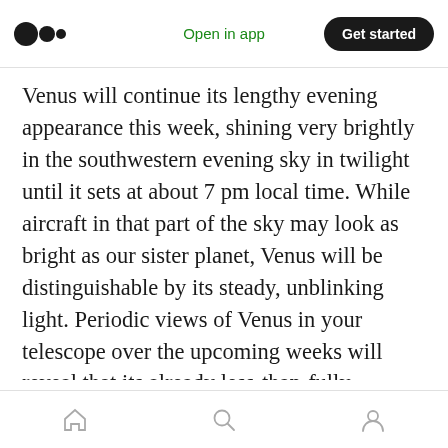Open in app | Get started
Venus will continue its lengthy evening appearance this week, shining very brightly in the southwestern evening sky in twilight until it sets at about 7 pm local time. While aircraft in that part of the sky may look as bright as our sister planet, Venus will be distinguishable by its steady, unblinking light. Periodic views of Venus in your telescope over the upcoming weeks will reveal that its already less-than-fully-illuminated disk is waning as it swings wide of the sun. Try to view the planet while it is higher in the sky around 5 pm local time (but be sure not to point
Home | Search | Profile